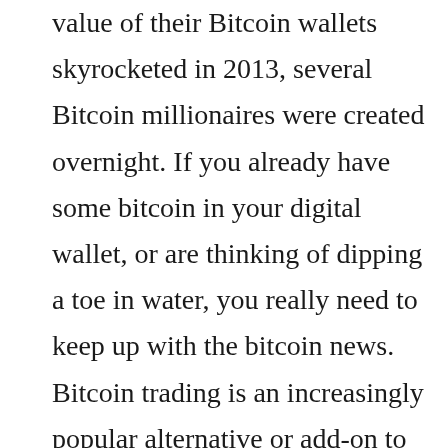value of their Bitcoin wallets skyrocketed in 2013, several Bitcoin millionaires were created overnight. If you already have some bitcoin in your digital wallet, or are thinking of dipping a toe in water, you really need to keep up with the bitcoin news. Bitcoin trading is an increasingly popular alternative or add-on to conventional foreign exchange transactions, and support is growing as more brokers sink.
Despite the gradual decline in bitcoin